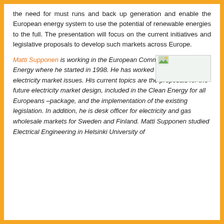the need for must runs and back up generation and enable the European energy system to use the potential of renewable energies to the full. The presentation will focus on the current initiatives and legislative proposals to develop such markets across Europe.
Matti Supponen is working in the European Commission in DG Energy where he started in 1998. He has worked mainly on electricity market issues. His current topics are the proposals for the future electricity market design, included in the Clean Energy for all Europeans –package, and the implementation of the existing legislation. In addition, he is desk officer for electricity and gas wholesale markets for Sweden and Finland. Matti Supponen studied Electrical Engineering in Helsinki University of
[Figure (photo): Small photo placeholder with image icon, bordered box]